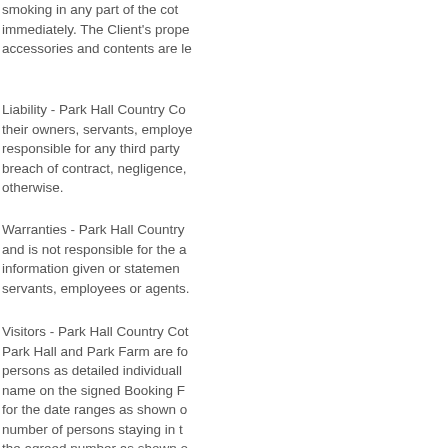smoking in any part of the cottage immediately. The Client's property, accessories and contents are le
Liability - Park Hall Country Cottages, their owners, servants, employees are not responsible for any third party breach of contract, negligence, otherwise.
Warranties - Park Hall Country and is not responsible for the a information given or statement servants, employees or agents.
Visitors - Park Hall Country Cottages Park Hall and Park Farm are for persons as detailed individually name on the signed Booking F for the date ranges as shown o number of persons staying in t the agreed number as shown o Hall Country Cottages reserve t the Client and all persons deta this condition are to b